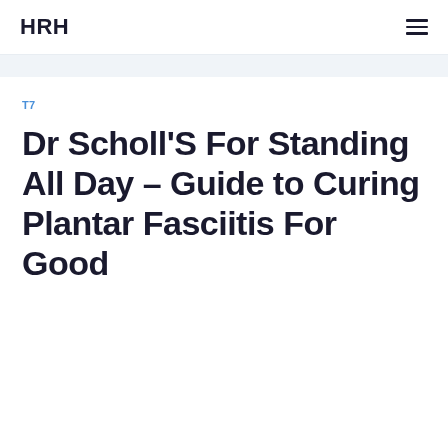HRH
T7
Dr Scholl'S For Standing All Day – Guide to Curing Plantar Fasciitis For Good